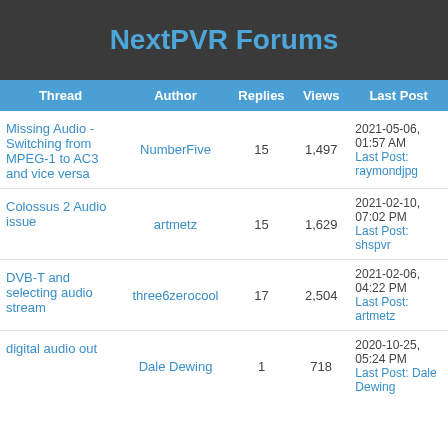NextPVR Forums
| Thread | Author | Replies | Views | Last Post |
| --- | --- | --- | --- | --- |
| Missing Audio - Switching from MPEG-1 to AC3 and vice versa | NumberFive | 15 | 1,497 | 2021-05-06, 01:57 AM Last Post: raymondjpg |
| Colossus 2 Audio issue | artmetz | 15 | 1,629 | 2021-02-10, 07:02 PM Last Post: shspvr |
| DVB-T and selecting audio stream | three6zerocool | 17 | 2,504 | 2021-02-06, 04:22 PM Last Post: artmetz |
| digital audio out | Dale Dewing | 1 | 718 | 2020-10-25, 05:24 PM Last Post: Dale Dewing |